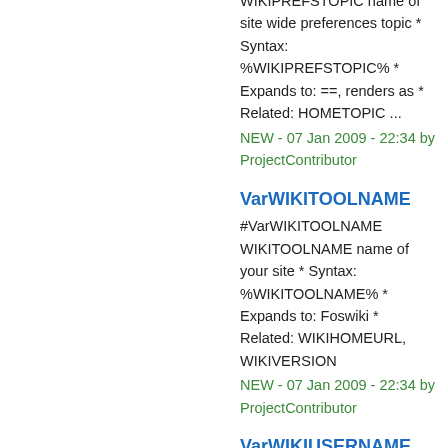WIKIPREFSTOPIC name of site wide preferences topic * Syntax: %WIKIPREFSTOPIC% * Expands to: ==, renders as * Related: HOMETOPIC ...
NEW - 07 Jan 2009 - 22:34 by ProjectContributor
VarWIKITOOLNAME
#VarWIKITOOLNAME WIKITOOLNAME name of your site * Syntax: %WIKITOOLNAME% * Expands to: Foswiki * Related: WIKIHOMEURL, WIKIVERSION
NEW - 07 Jan 2009 - 22:34 by ProjectContributor
VarWIKIUSERNAME
#VarWIKIUSERNAME WIKIUSERNAME your Wiki username with web prefix * Your %WIKINAME% with web prefix